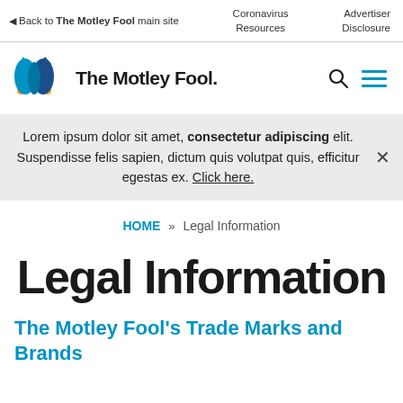◁ Back to The Motley Fool main site | Coronavirus Resources | Advertiser Disclosure
[Figure (logo): The Motley Fool jester hat logo with text 'The Motley Fool.']
Lorem ipsum dolor sit amet, consectetur adipiscing elit. Suspendisse felis sapien, dictum quis volutpat quis, efficitur egestas ex. Click here.
HOME » Legal Information
Legal Information
The Motley Fool's Trade Marks and Brands